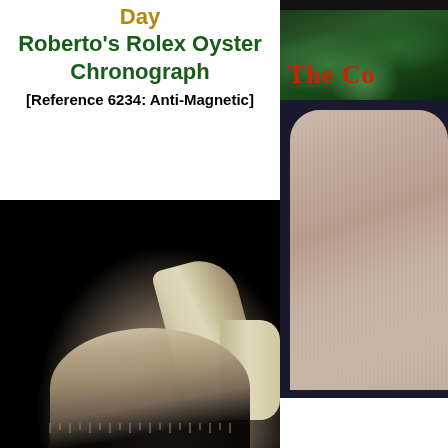Day
Roberto's Rolex Oyster Chronograph
[Reference 6234: Anti-Magnetic]
[Figure (photo): Close-up macro photograph of a Rolex Oyster Chronograph watch, showing the metallic case lugs and bezel with tick marks, mostly dark/black background with glinting steel details]
[Figure (photo): Partial view of right-side adjacent page showing text 'The Co' in red on dark background, and a person wearing a striped garment with greenery/plant leaves visible in upper portion]